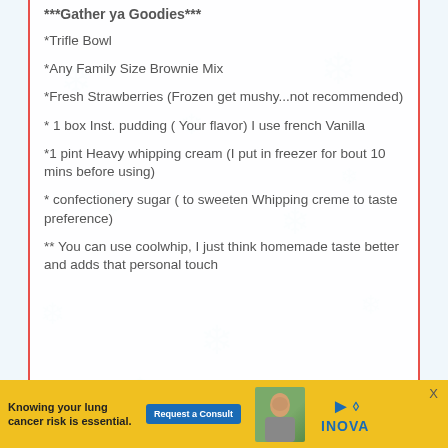***Gather ya Goodies***
*Trifle Bowl
*Any Family Size Brownie Mix
*Fresh Strawberries (Frozen get mushy...not recommended)
* 1 box Inst. pudding ( Your flavor) I use french Vanilla
*1 pint Heavy whipping cream (I put in freezer for bout 10 mins before using)
* confectionery sugar ( to sweeten Whipping creme to taste preference)
** You can use coolwhip, I just think homemade taste better and adds that personal touch
[Figure (other): Advertisement banner for INOVA lung cancer awareness: 'Knowing your lung cancer risk is essential.' with Request a Consult button and photo of a woman]